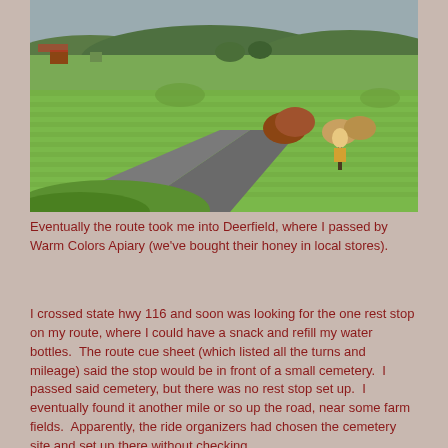[Figure (photo): Outdoor landscape photograph showing green farm fields with mowed grass, a paved road or path, shrubs, a small decorative figure or scarecrow, and tree-covered hills in the background under an overcast sky.]
Eventually the route took me into Deerfield, where I passed by Warm Colors Apiary (we've bought their honey in local stores).
I crossed state hwy 116 and soon was looking for the one rest stop on my route, where I could have a snack and refill my water bottles.  The route cue sheet (which listed all the turns and mileage) said the stop would be in front of a small cemetery.  I passed said cemetery, but there was no rest stop set up.  I eventually found it another mile or so up the road, near some farm fields.  Apparently, the ride organizers had chosen the cemetery site and set up there without checking